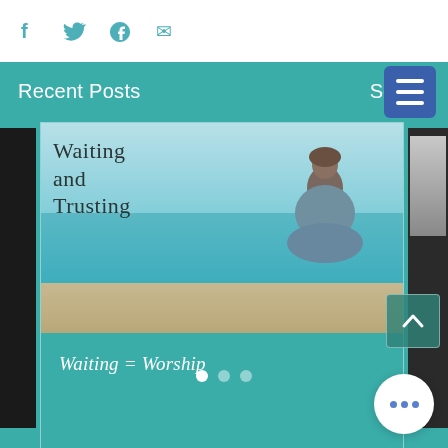[Figure (screenshot): Social media icons: Facebook (f), Twitter (bird), and another icon in teal color on white top bar]
[Figure (screenshot): Blue hamburger menu button in top right corner]
Recent Posts
See All
[Figure (photo): Blog post card showing image titled 'Waiting and Trusting' with a woman sitting by the sea, text overlay reads 'Waiting = Worship']
Waiting = Worship
[Figure (other): Pagination dots: 3 dots, first one white (active), two semi-transparent]
[Figure (other): Floating action button with three dots (ellipsis menu)]